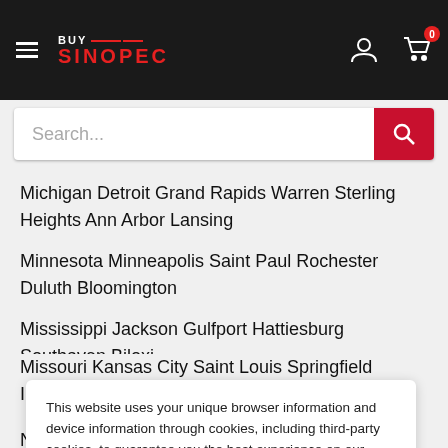BUY SINOPEC — navigation bar with hamburger menu, logo, user icon, cart (0)
Search...
Michigan Detroit Grand Rapids Warren Sterling Heights Ann Arbor Lansing
Minnesota Minneapolis Saint Paul Rochester Duluth Bloomington
Mississippi Jackson Gulfport Hattiesburg Southaven Biloxi
Missouri Kansas City Saint Louis Springfield Independence Columbia Jefferson City
This website uses your unique browser information and device information through cookies, including third-party cookies, to guarantee you the best experience on our website.
Accept
New Hampshire Manchester Nashua Concord Derry